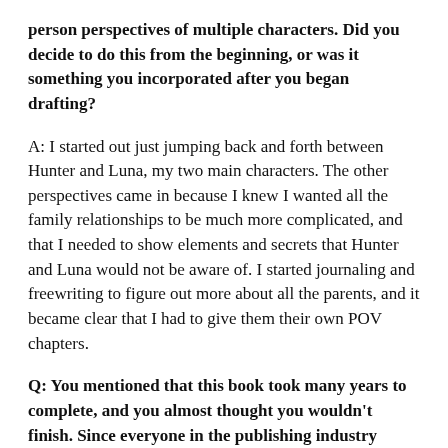person perspectives of multiple characters. Did you decide to do this from the beginning, or was it something you incorporated after you began drafting?
A: I started out just jumping back and forth between Hunter and Luna, my two main characters. The other perspectives came in because I knew I wanted all the family relationships to be much more complicated, and that I needed to show elements and secrets that Hunter and Luna would not be aware of. I started journaling and freewriting to figure out more about all the parents, and it became clear that I had to give them their own POV chapters.
Q: You mentioned that this book took many years to complete, and you almost thought you wouldn't finish. Since everyone in the publishing industry seems to be going through burnout and fatigue right now due to the pandemic, I'd like to ask: what kinds of things have you done to take care of your mental health while working